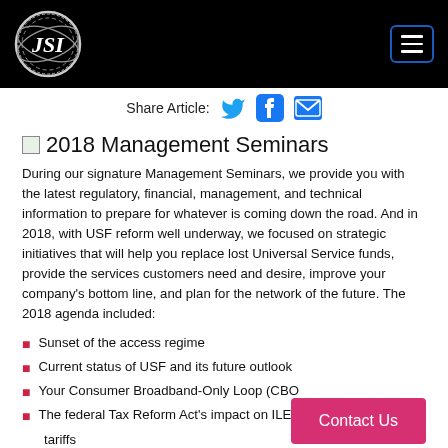JSI logo and navigation menu
Share Article:
2018 Management Seminars
During our signature Management Seminars, we provide you with the latest regulatory, financial, management, and technical information to prepare for whatever is coming down the road. And in 2018, with USF reform well underway, we focused on strategic initiatives that will help you replace lost Universal Service funds, provide the services customers need and desire, improve your company’s bottom line, and plan for the network of the future. The 2018 agenda included:
Sunset of the access regime
Current status of USF and its future outlook
Your Consumer Broadband-Only Loop (CBOL)
The federal Tax Reform Act’s impact on ILEC sustainability, USF and tariffs